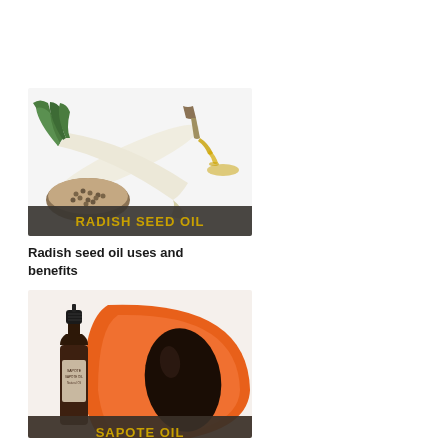[Figure (photo): Photo of radish seed oil: a white daikon radish with green leafy top, hemp seeds in a bowl, and a spoon drizzling golden oil. Dark banner overlay reads 'RADISH SEED OIL' in gold text.]
Radish seed oil uses and benefits
[Figure (photo): Photo of sapote oil: a small dark glass dropper bottle of oil in front of a halved mamey sapote fruit showing orange flesh and dark seed. Dark banner at bottom reads 'SAPOTE OIL' in gold text.]